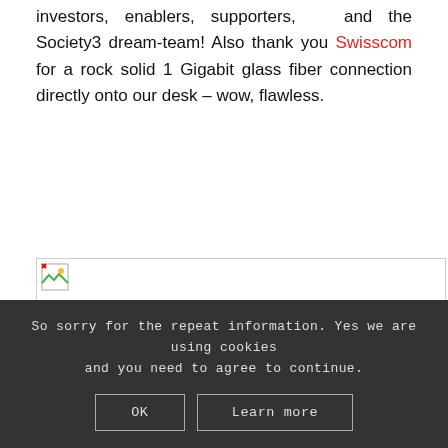investors, enablers, supporters, and the Society3 dream-team! Also thank you Swisscom for a rock solid 1 Gigabit glass fiber connection directly onto our desk – wow, flawless.
[Figure (photo): Partially loaded image with broken image icon in top-left corner, bordered rectangle]
So sorry for the repeat information. Yes we are using cookies and you need to agree to continue. OK  Learn more